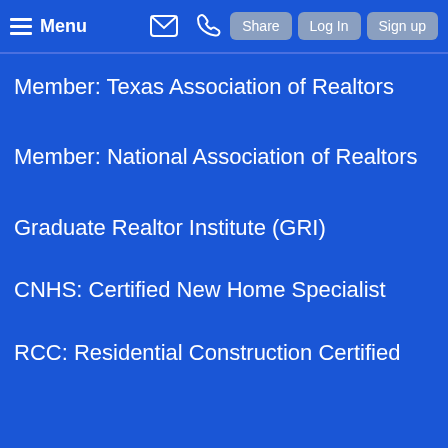Menu | Share | Log In | Sign up
Member: Texas Association of Realtors
Member: National Association of Realtors
Graduate Realtor Institute (GRI)
CNHS: Certified New Home Specialist
RCC: Residential Construction Certified